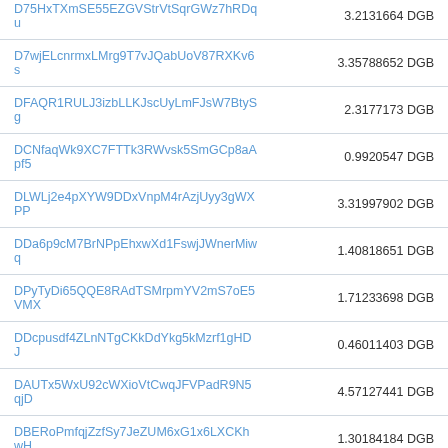| Address | Amount |
| --- | --- |
| D75HxTXmSE55EZGVStrVtSqrGWz7hRDqu | 3.2131664 DGB |
| D7wjELcnrmxLMrg9T7vJQabUoV87RXKv6s | 3.35788652 DGB |
| DFAQR1RULJ3izbLLKJscUyLmFJsW7BtySg | 2.3177173 DGB |
| DCNfaqWk9XC7FTTk3RWvsk5SmGCp8aApf5 | 0.9920547 DGB |
| DLWLj2e4pXYW9DDxVnpM4rAzjUyy3gWXPP | 3.31997902 DGB |
| DDa6p9cM7BrNPpEhxwXd1FswjJWnerMiwq | 1.40818651 DGB |
| DPyTyDi65QQE8RAdTSMrpmYV2mS7oE5VMX | 1.71233698 DGB |
| DDcpusdf4ZLnNTgCKkDdYkg5kMzrf1gHDJ | 0.46011403 DGB |
| DAUTx5WxU92cWXioVtCwqJFVPadR9N5qjD | 4.57127441 DGB |
| DBERoPmfqjZzfSy7JeZUM6xG1x6LXCKhwH | 1.30184184 DGB |
| DJ9UZCWjbHnb3nMgwzVRLEyrxQBpKV6Fhx | 5.4937192 DGB |
| DJg3wEJzpMQSHqfFEZ1Wo41w73cma5v3cD | 2.44840464 DGB |
| DJyn7ooa8R2xzrSm1KiiudEmH6cH7CBJjf | 5112.91288205 DGB |
| DFAQR1RULJ3izbLLKJscUyLmFJsW7BtySg | 2.40154306 DGB |
| DCNfaqWk9XC7FTTk3RWvsk5SmGCp8aApf5 | 1.02024897 DGB |